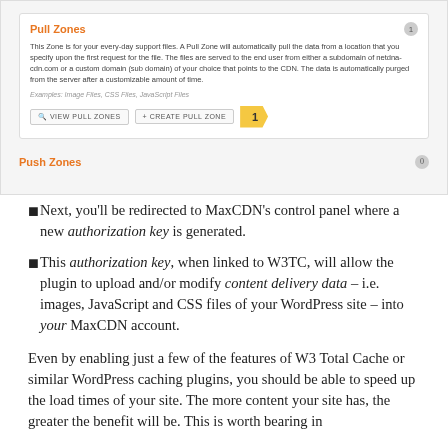[Figure (screenshot): Screenshot of MaxCDN control panel showing Pull Zones section with description text, examples, View Pull Zones and Create Pull Zone buttons, and a numbered callout '1'. Below is Push Zones header with badge showing 0.]
Next, you'll be redirected to MaxCDN's control panel where a new authorization key is generated.
This authorization key, when linked to W3TC, will allow the plugin to upload and/or modify content delivery data – i.e. images, JavaScript and CSS files of your WordPress site – into your MaxCDN account.
Even by enabling just a few of the features of W3 Total Cache or similar WordPress caching plugins, you should be able to speed up the load times of your site. The more content your site has, the greater the benefit will be. This is worth bearing in